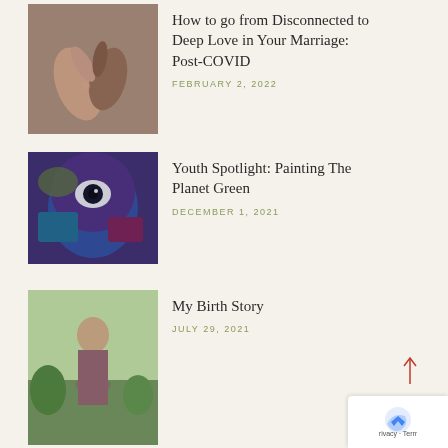[Figure (photo): Two hands touching/holding fingers, close-up photo, warm tones]
How to go from Disconnected to Deep Love in Your Marriage: Post-COVID
FEBRUARY 2, 2022
[Figure (photo): Colorful mural painting of a stylized face with blue, purple tones]
Youth Spotlight: Painting The Planet Green
DECEMBER 1, 2021
[Figure (photo): Pregnant woman standing in a garden/outdoor setting]
My Birth Story
JULY 29, 2021